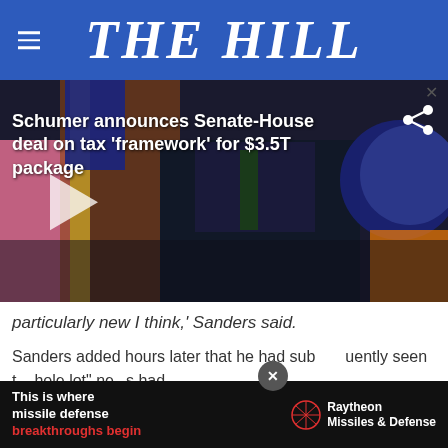THE HILL
[Figure (screenshot): Video thumbnail showing Senator Schumer at a press conference with American flags and House of Representatives seal in background. White play button overlay visible. Video title overlay: 'Schumer announces Senate-House deal on tax framework for $3.5T package']
particularly new I think,' Sanders said.
Sanders added hours later that he had subsequently seen the whole lot" ne s had disclosed as possible pay-fors